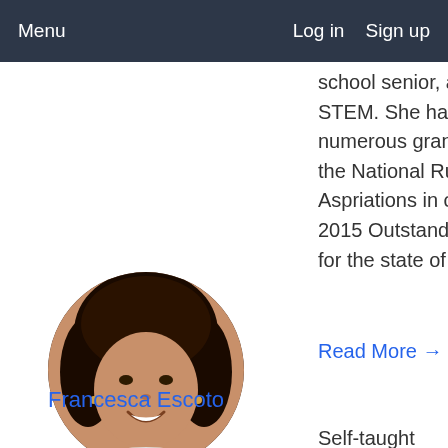Menu    Log in  Sign up
school senior, and she is devoted to STEM. She has been the recipient of numerous grants and awards including the National Runner-Up NCWIT Aspriations in computing award, 2014-2015 Outstanding Volunteer of the Year for the state of Florida, and she...
Read More →
[Figure (photo): Circular headshot of Francesca Escoto, a woman with dark curly hair, smiling]
Francesca Escoto
Self-taught web developer, engineer